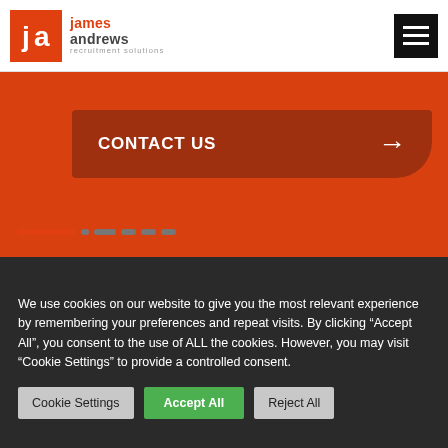[Figure (logo): James Andrews Recruitment Solutions logo — red square with 'ja' monogram, brand name in red and grey, tagline 'recruitment solutions']
[Figure (other): Hamburger menu icon — black square with three white horizontal bars]
CONTACT US →
[Figure (other): Orange background section with slider navigation dots — one active orange dot and several smaller grey dots]
We use cookies on our website to give you the most relevant experience by remembering your preferences and repeat visits. By clicking "Accept All", you consent to the use of ALL the cookies. However, you may visit "Cookie Settings" to provide a controlled consent.
Cookie Settings
Accept All
Reject All